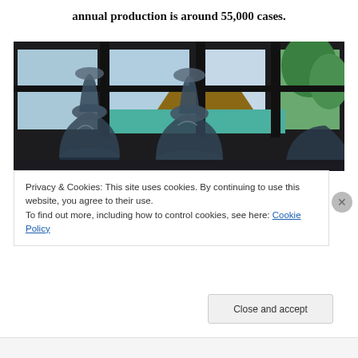annual production is around 55,000 cases.
[Figure (photo): Wine decanters or carafes on a bar counter with large windows overlooking outdoor trees and a thatched roof structure in the background]
Privacy & Cookies: This site uses cookies. By continuing to use this website, you agree to their use.
To find out more, including how to control cookies, see here: Cookie Policy
Close and accept